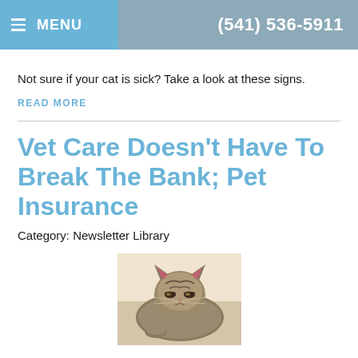MENU  (541) 536-5911
Not sure if your cat is sick? Take a look at these signs.
READ MORE
Vet Care Doesn't Have To Break The Bank; Pet Insurance
Category: Newsletter Library
[Figure (photo): Close-up photo of a cat with medium-long fur, looking slightly downward]